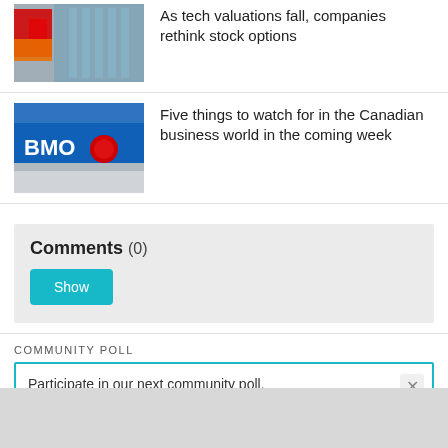[Figure (photo): Canadian flag and building photo thumbnail (partially visible at top)]
As tech valuations fall, companies rethink stock options
[Figure (photo): BMO bank branch sign photo thumbnail]
Five things to watch for in the Canadian business world in the coming week
Comments (0)
Show
COMMUNITY POLL
Participate in our next community poll.